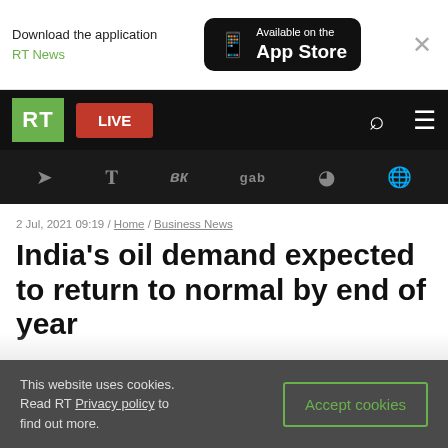[Figure (screenshot): App download banner: 'Download the application RT News' with 'Available on the App Store' button and close X]
RT LIVE (navigation bar with search and menu icons)
[Figure (screenshot): Social media icons bar: Telegram, Twitter, VK, gab, Rumble, and globe icon]
2 Jul, 2021 09:19 / Home / Business News
India's oil demand expected to return to normal by end of year
This website uses cookies. Read RT Privacy policy to find out more.
Accept cookies